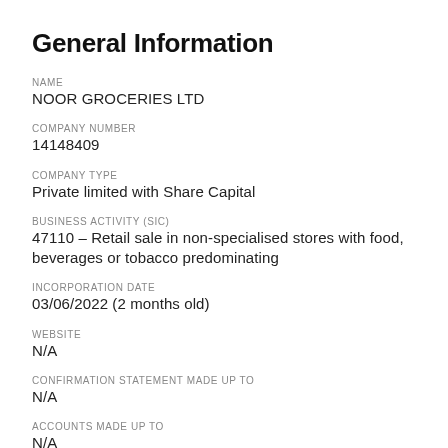General Information
NAME
NOOR GROCERIES LTD
COMPANY NUMBER
14148409
COMPANY TYPE
Private limited with Share Capital
BUSINESS ACTIVITY (SIC)
47110 – Retail sale in non-specialised stores with food, beverages or tobacco predominating
INCORPORATION DATE
03/06/2022 (2 months old)
WEBSITE
N/A
CONFIRMATION STATEMENT MADE UP TO
N/A
ACCOUNTS MADE UP TO
N/A